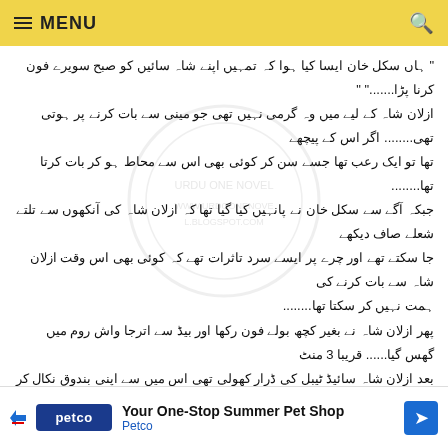MENU
Urdu novel/story text (right-to-left Urdu script passage)
[Figure (logo): Petco advertisement banner: 'Your One-Stop Summer Pet Shop' with Petco logo and navigation arrow]
Petco - Your One-Stop Summer Pet Shop